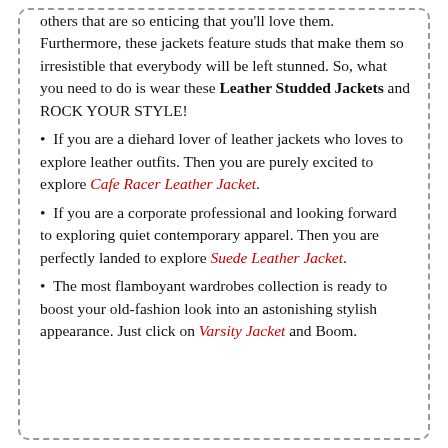others that are so enticing that you'll love them. Furthermore, these jackets feature studs that make them so irresistible that everybody will be left stunned. So, what you need to do is wear these Leather Studded Jackets and ROCK YOUR STYLE!
If you are a diehard lover of leather jackets who loves to explore leather outfits. Then you are purely excited to explore Cafe Racer Leather Jacket.
If you are a corporate professional and looking forward to exploring quiet contemporary apparel. Then you are perfectly landed to explore Suede Leather Jacket.
The most flamboyant wardrobes collection is ready to boost your old-fashion look into an astonishing stylish appearance. Just click on Varsity Jacket and Boom.